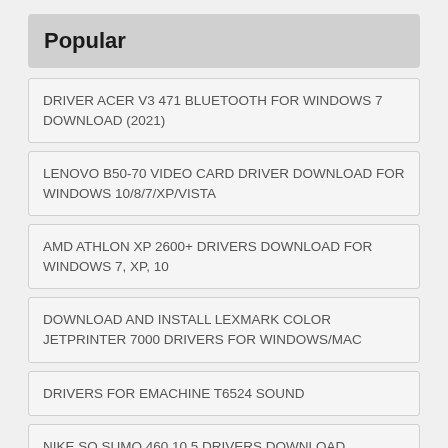Popular
DRIVER ACER V3 471 BLUETOOTH FOR WINDOWS 7 DOWNLOAD (2021)
LENOVO B50-70 VIDEO CARD DRIVER DOWNLOAD FOR WINDOWS 10/8/7/XP/VISTA
AMD ATHLON XP 2600+ DRIVERS DOWNLOAD FOR WINDOWS 7, XP, 10
DOWNLOAD AND INSTALL LEXMARK COLOR JETPRINTER 7000 DRIVERS FOR WINDOWS/MAC
DRIVERS FOR EMACHINE T6524 SOUND
NIKE SQ SUMO 460 10.5 DRIVERS DOWNLOAD SUPPORT
ACER ASPIRE 5750Z BLUETOOTH WINDOWS 7 DRIVERS